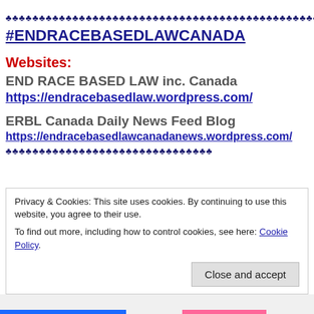♣♣♣♣♣♣♣♣♣♣♣♣♣♣♣♣♣♣♣♣♣♣♣♣♣♣♣♣♣♣♣♣♣♣♣♣♣♣♣♣♣♣♣♣♣♣♣♣♣♣♣♣♣♣♣♣
#ENDRACEBASEDLAWCANADA
Websites:
END RACE BASED LAW inc. Canada
https://endracebasedlaw.wordpress.com/
ERBL Canada Daily News Feed Blog
https://endracebasedlawcanadanews.wordpress.com/
♣♣♣♣♣♣♣♣♣♣♣♣♣♣♣♣♣♣♣♣♣♣♣♣♣♣♣♣♣♣♣
Privacy & Cookies: This site uses cookies. By continuing to use this website, you agree to their use.
To find out more, including how to control cookies, see here: Cookie Policy
Close and accept